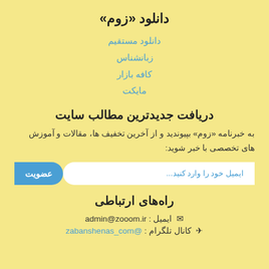دانلود «زوم»
دانلود مستقیم
زبانشناس
کافه بازار
مایکت
دریافت جدیدترین مطالب سایت
به خبرنامه «زوم» بپیوندید و از آخرین تخفیف ها، مقالات و آموزش های تخصصی با خبر شوید:
ایمیل خود را وارد کنید... | عضویت
راه‌های ارتباطی
ایمیل: admin@zooom.ir
کانال تلگرام: @zabanshenas_com